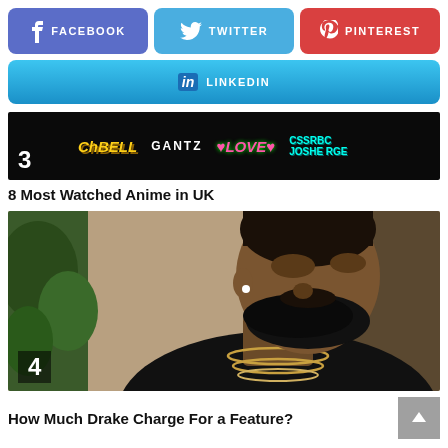[Figure (infographic): Social share buttons row: Facebook (purple), Twitter (blue), Pinterest (red)]
[Figure (infographic): LinkedIn share button (light blue gradient)]
[Figure (infographic): Article thumbnail for item 3 - anime logos on black background with number 3]
8 Most Watched Anime in UK
[Figure (photo): Article thumbnail for item 4 - photo of Drake looking to the side with beard and chains. Number 4 badge in bottom left.]
How Much Drake Charge For a Feature?